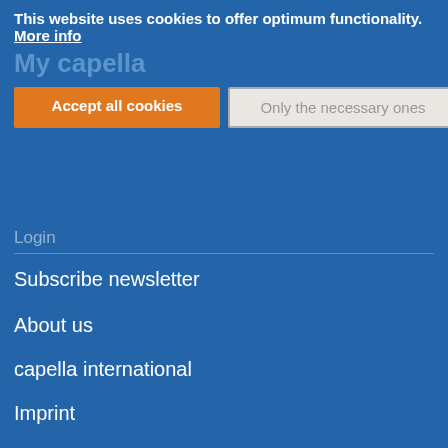This website uses cookies to offer optimum functionality. More info
My capella
Accept all cookies
Only the necessary ones
Login
Subscribe newsletter
About us
capella international
Imprint
General terms and conditions
Privacy
Contact